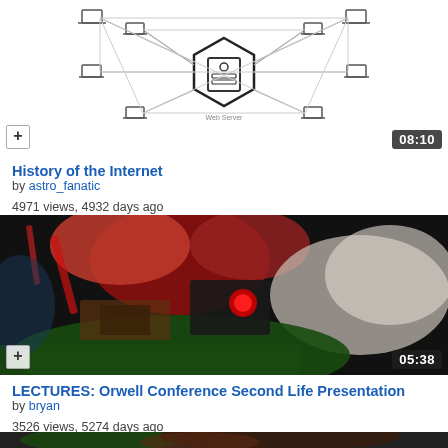[Figure (screenshot): Video thumbnail: network diagram showing computers connected to a central server node, with + button and 08:10 duration overlay]
History of the Internet
by astro_fanatic
4971 views, 4932 days ago
[Figure (screenshot): Video thumbnail: colorful animated/virtual scene with red glowing orb, + button and 05:38 duration overlay]
LECTURES: Orwell Conference Second Life Presentation
by bryan
3526 views, 5274 days ago
[Figure (screenshot): Video thumbnail: partially visible colorful scene, bottom of page]